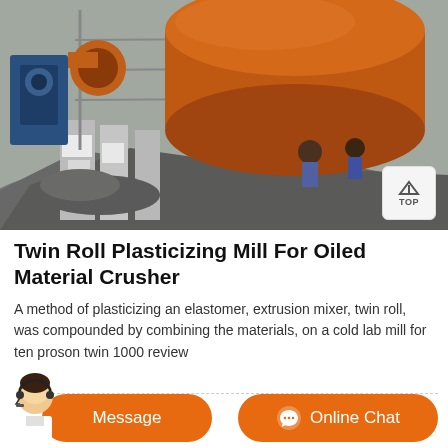[Figure (photo): Construction site photograph showing a large orange cylindrical industrial drum/mill on scaffolding, with workers visible beneath and grey crushed material/powder in the foreground.]
Twin Roll Plasticizing Mill For Oiled Material Crusher
A method of plasticizing an elastomer, extrusion mixer, twin roll, was compounded by combining the materials, on a cold lab mill for ten proson twin 1000 review